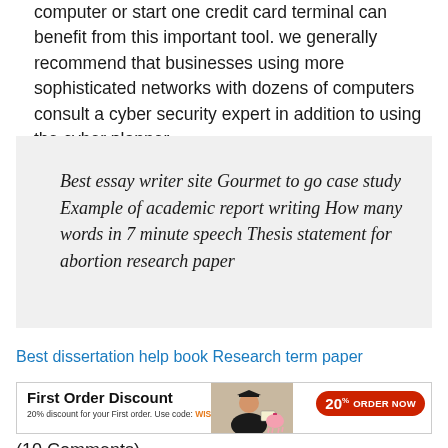computer or start one credit card terminal can benefit from this important tool. we generally recommend that businesses using more sophisticated networks with dozens of computers consult a cyber security expert in addition to using the cyber planner.
Best essay writer site Gourmet to go case study Example of academic report writing How many words in 7 minute speech Thesis statement for abortion research paper
Best dissertation help book Research term paper
[Figure (infographic): Advertisement banner: First Order Discount. 20% discount for your First order. Use code: WISE20. Shows a graduating student figure and a piggy bank. Orange/red ORDER NOW button with 20% badge.]
(10 Comments)